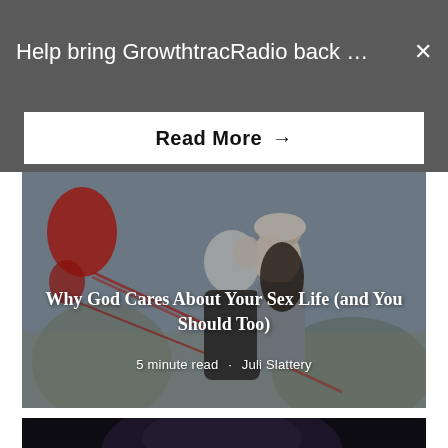Help bring GrowthtracRadio back …
Read More →
[Figure (photo): Couple leaning foreheads together outdoors with red ribbons/balloons in background]
Why God Cares About Your Sex Life (and You Should Too)
5 minute read · Juli Slattery
[Figure (photo): Ballet dancers performing on stage with dark background]
Who Are You Performing For?